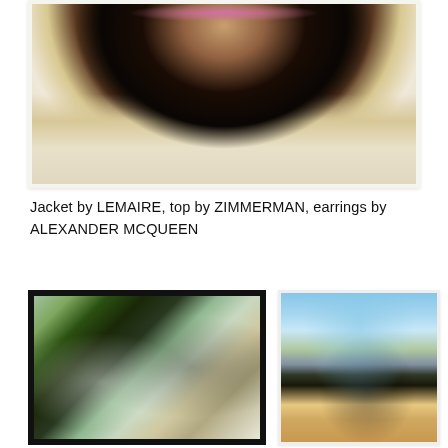[Figure (photo): Close-up portrait of a woman with braided hair and pink/mauve lips wearing a dark jacket and yellow-print top, photographed in bright sunlight. Polaroid-style photo.]
Jacket by LEMAIRE, top by ZIMMERMAN, earrings by ALEXANDER MCQUEEN
[Figure (photo): Black-framed photo of three people in or near water at a beach, one wearing a bright green top.]
[Figure (photo): Portrait of a slender woman in a colorful swimsuit standing on a beach with blue sky and mountains in the background.]